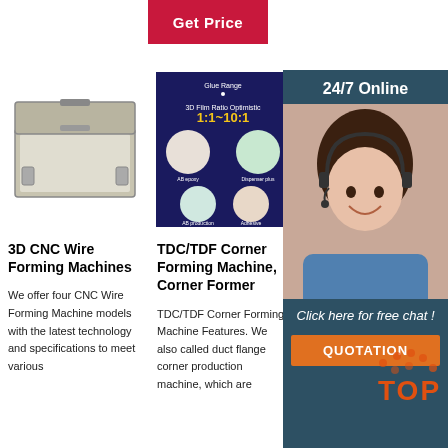[Figure (other): Red 'Get Price' button at top center]
[Figure (photo): Gray plastic case/box open, product image]
[Figure (infographic): Dark navy blue promotional image showing 3D film ratio 1:1~10:1 with circular photos]
[Figure (photo): Metal product on white background, partial view]
[Figure (infographic): 24/7 Online customer service chat box with woman wearing headset, Click here for free chat and QUOTATION button]
3D CNC Wire Forming Machines
We offer four CNC Wire Forming Machine models with the latest technology and specifications to meet various
TDC/TDF Corner Forming Machine, Corner Former
TDC/TDF Corner Forming Machine Features. We also called duct flange corner production machine, which are
Corn... Mach...
Corner... Machine... flexible former corner machine makes corner welding obsolete. It offers completely new
[Figure (logo): Orange TOP badge/logo at bottom right]